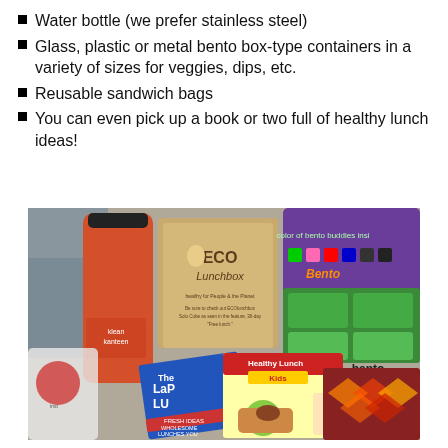Water bottle (we prefer stainless steel)
Glass, plastic or metal bento box-type containers in a variety of sizes for veggies, dips, etc.
Reusable sandwich bags
You can even pick up a book or two full of healthy lunch ideas!
[Figure (photo): Photo showing various eco-friendly lunch items including a Klean Kanteen water bottle, ECO Lunchbox, Laptop Lunches Bento box, bento buddies containers, and books about healthy lunches including 'Healthy Lunch for Kids' and a Laptop Lunches book, plus Organic Cotton Napkins.]